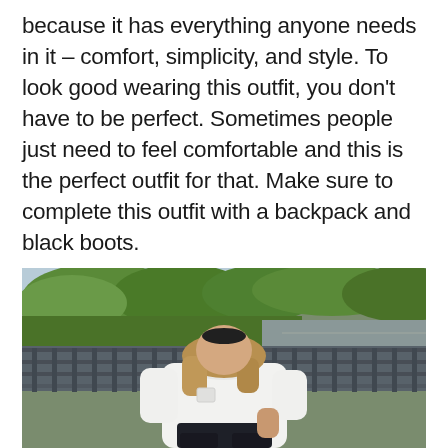because it has everything anyone needs in it – comfort, simplicity, and style. To look good wearing this outfit, you don't have to be perfect. Sometimes people just need to feel comfortable and this is the perfect outfit for that. Make sure to complete this outfit with a backpack and black boots.
[Figure (photo): A woman wearing an oversized white t-shirt and dark jeans, sitting on a railing outdoors with trees and a road visible in the background.]